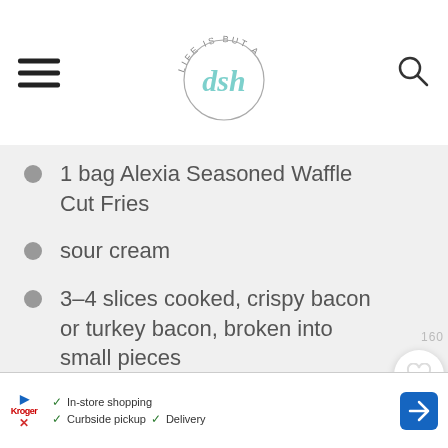Life is but a dish — logo header with hamburger menu and search icon
1 bag Alexia Seasoned Waffle Cut Fries
sour cream
3–4 slices cooked, crispy bacon or turkey bacon, broken into small pieces
chopped chives
any additional toppings you want!
In-store shopping  Curbside pickup  Delivery — advertisement